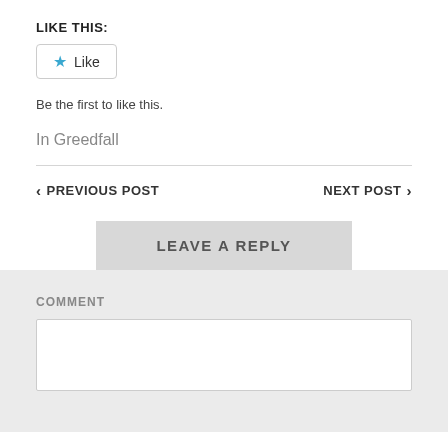LIKE THIS:
[Figure (other): Like button widget with blue star icon and 'Like' label, bordered button]
Be the first to like this.
In Greedfall
< PREVIOUS POST
NEXT POST >
LEAVE A REPLY
COMMENT